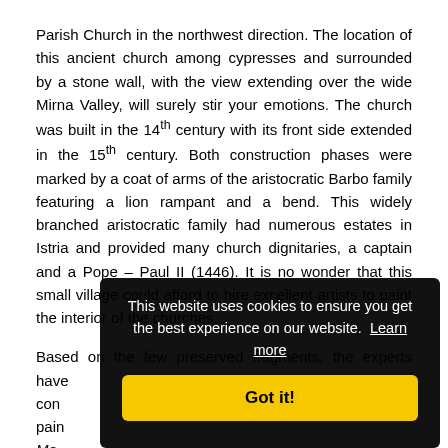Parish Church in the northwest direction. The location of this ancient church among cypresses and surrounded by a stone wall, with the view extending over the wide Mirna Valley, will surely stir your emotions. The church was built in the 14th century with its front side extended in the 15th century. Both construction phases were marked by a coat of arms of the aristocratic Barbo family featuring a lion rampant and a bend. This widely branched aristocratic family had numerous estates in Istria and provided many church dignitaries, a captain and a Pope – Paul II (1446). It is no wonder that this small village could afford to hire excellent artists to paint the interior of the churches.
Based on the few preserved fragments, the experts have con[cluded that the church was painted by the same painter who] pain[ted the church in...] Ma[...] abo[...] Tre[...] ben[...] ope[...] his daughters with a dowry. An unknown person inscribed over the...
[Figure (screenshot): Cookie consent popup overlay with dark background. Text reads: 'This website uses cookies to ensure you get the best experience on our website. Learn more' with a yellow 'Got it!' button.]